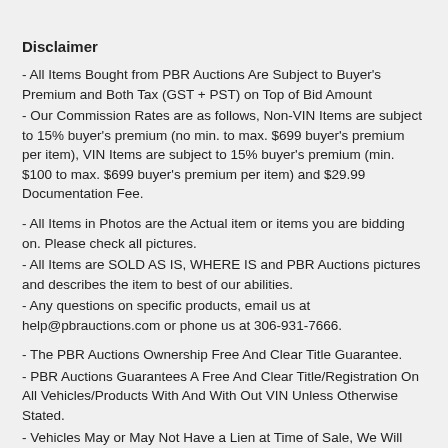Disclaimer
- All Items Bought from PBR Auctions Are Subject to Buyer's Premium and Both Tax (GST + PST) on Top of Bid Amount
- Our Commission Rates are as follows, Non-VIN Items are subject to 15% buyer's premium (no min. to max. $699 buyer's premium per item), VIN Items are subject to 15% buyer's premium (min. $100 to max. $699 buyer's premium per item) and $29.99 Documentation Fee.
- All Items in Photos are the Actual item or items you are bidding on. Please check all pictures.
- All Items are SOLD AS IS, WHERE IS and PBR Auctions pictures and describes the item to best of our abilities.
- Any questions on specific products, email us at help@pbrauctions.com or phone us at 306-931-7666.
- The PBR Auctions Ownership Free And Clear Title Guarantee.
- PBR Auctions Guarantees A Free And Clear Title/Registration On All Vehicles/Products With And With Out VIN Unless Otherwise Stated.
- Vehicles May or May Not Have a Lien at Time of Sale, We Will Provide Lien Release on Any Sold Vehicles at a Time of Payment.
- In Addition, Over $99,999 b...